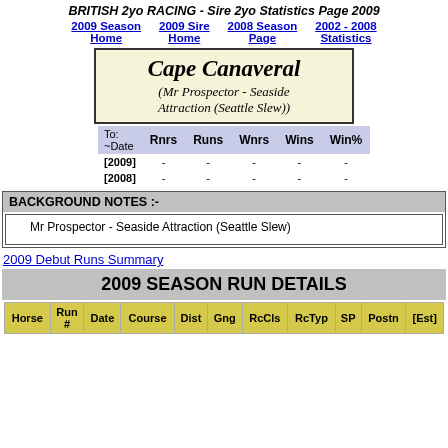BRITISH 2yo RACING - Sire 2yo Statistics Page 2009
2009 Season Home | 2009 Sire Home | 2008 Season Page | 2002 - 2008 Statistics
Cape Canaveral (Mr Prospector - Seaside Attraction (Seattle Slew))
| To: ~Date | Rnrs | Runs | Wnrs | Wins | Win% |
| --- | --- | --- | --- | --- | --- |
| [2009] | - | - | - | - | - |
| [2008] | - | - | - | - | - |
BACKGROUND NOTES :-
Mr Prospector - Seaside Attraction (Seattle Slew)
2009 Debut Runs Summary
2009 SEASON RUN DETAILS
| Horse | Run # | Date | Course | Dist | Gng | RcCls | RcTyp | SP | Postn | [Est] |
| --- | --- | --- | --- | --- | --- | --- | --- | --- | --- | --- |